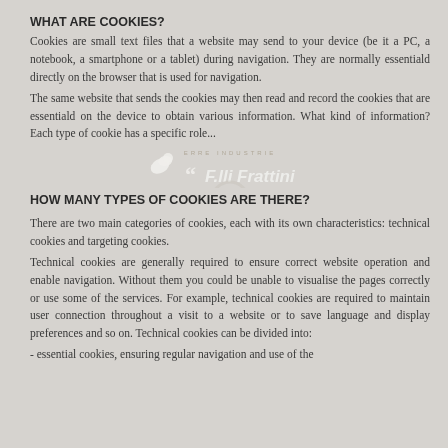WHAT ARE COOKIES?
Cookies are small text files that a website may send to your device (be it a PC, a notebook, a smartphone or a tablet) during navigation. They are normally essentiald directly on the browser that is used for navigation.
The same website that sends the cookies may then read and record the cookies that are essentiald on the device to obtain various information. What kind of information? Each type of cookie has a specific role...
[Figure (logo): F.lli Frattini company watermark logo with stylized icon]
HOW MANY TYPES OF COOKIES ARE THERE?
There are two main categories of cookies, each with its own characteristics: technical cookies and targeting cookies.
Technical cookies are generally required to ensure correct website operation and enable navigation. Without them you could be unable to visualise the pages correctly or use some of the services. For example, technical cookies are required to maintain user connection throughout a visit to a website or to save language and display preferences and so on. Technical cookies can be divided into:
- essential cookies, ensuring regular navigation and use of the